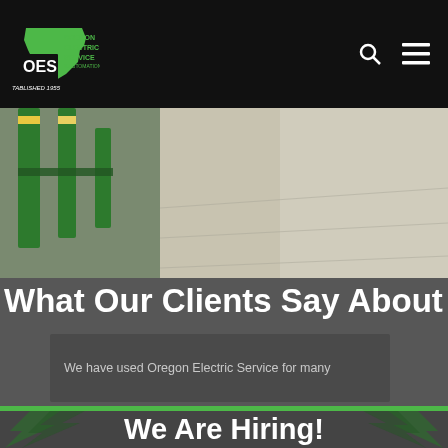Oregon Electric Service & Automation — OES — Established 1955
[Figure (photo): Industrial facility interior with green metal support columns and a concrete floor, photographed from ground level.]
What Our Clients Say About Us
We have used Oregon Electric Service for many
We Are Hiring!